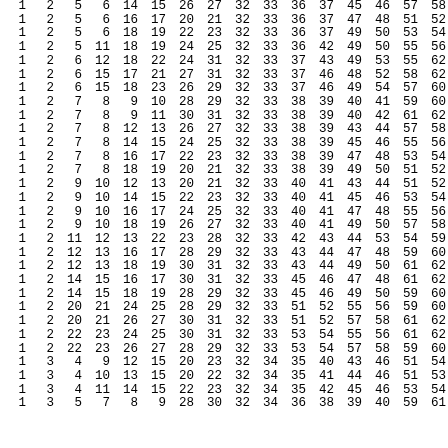| 1 | 2 | 5 | 6 | 14 | 15 | 26 | 27 | 32 | 33 | 36 | 37 | 45 | 46 | 57 | 58 |
| 1 | 2 | 5 | 6 | 16 | 17 | 20 | 21 | 32 | 33 | 36 | 37 | 47 | 48 | 51 | 52 |
| 1 | 2 | 5 | 6 | 18 | 19 | 22 | 23 | 32 | 33 | 36 | 37 | 49 | 50 | 53 | 54 |
| 1 | 2 | 5 | 11 | 18 | 19 | 24 | 25 | 32 | 33 | 36 | 42 | 49 | 50 | 55 | 56 |
| 1 | 2 | 6 | 12 | 18 | 22 | 24 | 31 | 32 | 33 | 37 | 43 | 49 | 53 | 55 | 62 |
| 1 | 2 | 6 | 15 | 17 | 21 | 27 | 31 | 32 | 33 | 37 | 46 | 48 | 52 | 58 | 62 |
| 1 | 2 | 6 | 15 | 18 | 23 | 26 | 29 | 32 | 33 | 37 | 46 | 49 | 54 | 57 | 60 |
| 1 | 2 | 7 | 8 | 9 | 10 | 28 | 29 | 32 | 33 | 38 | 39 | 40 | 41 | 59 | 60 |
| 1 | 2 | 7 | 8 | 9 | 11 | 30 | 31 | 32 | 33 | 38 | 39 | 40 | 42 | 61 | 62 |
| 1 | 2 | 7 | 8 | 12 | 13 | 26 | 27 | 32 | 33 | 38 | 39 | 43 | 44 | 57 | 58 |
| 1 | 2 | 7 | 8 | 14 | 15 | 24 | 25 | 32 | 33 | 38 | 39 | 45 | 46 | 55 | 56 |
| 1 | 2 | 7 | 8 | 16 | 17 | 22 | 23 | 32 | 33 | 38 | 39 | 47 | 48 | 53 | 54 |
| 1 | 2 | 7 | 8 | 18 | 19 | 20 | 21 | 32 | 33 | 38 | 39 | 49 | 50 | 51 | 52 |
| 1 | 2 | 9 | 10 | 12 | 13 | 20 | 21 | 32 | 33 | 40 | 41 | 43 | 44 | 51 | 52 |
| 1 | 2 | 9 | 10 | 14 | 15 | 22 | 23 | 32 | 33 | 40 | 41 | 45 | 46 | 53 | 54 |
| 1 | 2 | 9 | 10 | 16 | 17 | 24 | 25 | 32 | 33 | 40 | 41 | 47 | 48 | 55 | 56 |
| 1 | 2 | 9 | 10 | 18 | 19 | 26 | 27 | 32 | 33 | 40 | 41 | 49 | 50 | 57 | 58 |
| 1 | 2 | 11 | 12 | 13 | 22 | 23 | 28 | 32 | 33 | 42 | 43 | 44 | 53 | 54 | 59 |
| 1 | 2 | 12 | 13 | 16 | 17 | 28 | 29 | 32 | 33 | 43 | 44 | 47 | 48 | 59 | 60 |
| 1 | 2 | 12 | 13 | 18 | 19 | 30 | 31 | 32 | 33 | 43 | 44 | 49 | 50 | 61 | 62 |
| 1 | 2 | 14 | 15 | 16 | 17 | 30 | 31 | 32 | 33 | 45 | 46 | 47 | 48 | 61 | 62 |
| 1 | 2 | 14 | 15 | 18 | 19 | 28 | 29 | 32 | 33 | 45 | 46 | 49 | 50 | 59 | 60 |
| 1 | 2 | 20 | 21 | 24 | 25 | 28 | 29 | 32 | 33 | 51 | 52 | 55 | 56 | 59 | 60 |
| 1 | 2 | 20 | 21 | 26 | 27 | 30 | 31 | 32 | 33 | 51 | 52 | 57 | 58 | 61 | 62 |
| 1 | 2 | 22 | 23 | 24 | 25 | 30 | 31 | 32 | 33 | 53 | 54 | 55 | 56 | 61 | 62 |
| 1 | 2 | 22 | 23 | 26 | 27 | 28 | 29 | 32 | 33 | 53 | 54 | 57 | 58 | 59 | 60 |
| 1 | 3 | 4 | 9 | 12 | 15 | 20 | 23 | 32 | 34 | 35 | 40 | 43 | 46 | 51 | 54 |
| 1 | 3 | 4 | 10 | 13 | 15 | 20 | 22 | 32 | 34 | 35 | 41 | 44 | 46 | 51 | 53 |
| 1 | 3 | 4 | 11 | 14 | 15 | 22 | 23 | 32 | 34 | 35 | 42 | 45 | 46 | 53 | 54 |
| 1 | 3 | 5 | 7 | 8 | 9 | 28 | 30 | 32 | 34 | 36 | 38 | 39 | 40 | 59 | 61 |